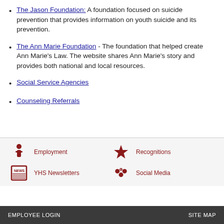The Jason Foundation: A foundation focused on suicide prevention that provides information on youth suicide and its prevention.
The Ann Marie Foundation - The foundation that helped create Ann Marie's Law. The website shares Ann Marie's story and provides both national and local resources.
Social Service Agencies
Counseling Referrals
Employment | Recognitions | YHS Newsletters | Social Media | EMPLOYEE LOGIN | SITE MAP